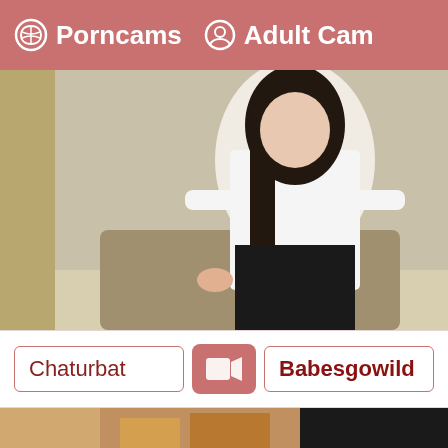Porncams  Adult Cam
[Figure (photo): Woman with dark hair in white blouse and black skirt seated in an office setting, viewed from slightly above; partial view of second scene with legs visible on right side]
Chaturbat
[Figure (other): Pink/salmon video camera icon button]
Babesgowild
[Figure (photo): Partial view of a second photo at the bottom of the page]